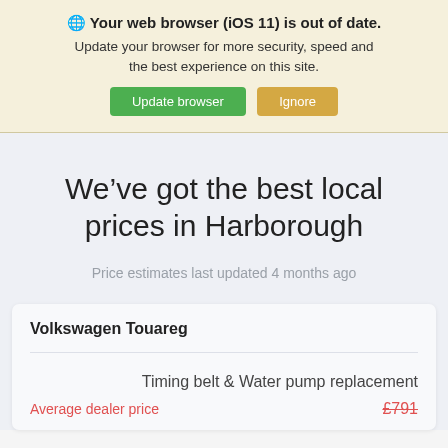🌐 Your web browser (iOS 11) is out of date. Update your browser for more security, speed and the best experience on this site.
Update browser | Ignore
We've got the best local prices in Harborough
Price estimates last updated 4 months ago
Volkswagen Touareg
Timing belt & Water pump replacement
Average dealer price  £791